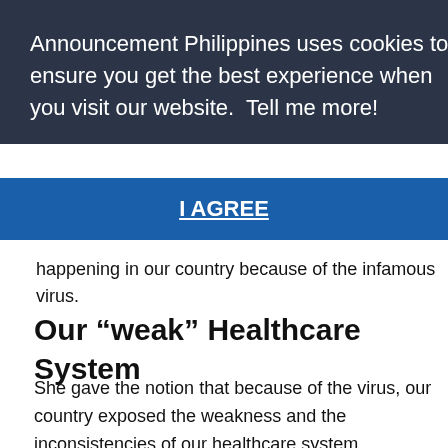Announcement Philippines uses cookies to ensure you get the best experience when you visit our website.  Tell me more!
I AGREE
er and s happening in our country because of the infamous virus.
Our “weak” Healthcare System
She gave the notion that because of the virus, our country exposed the weakness and the inconsistencies of our healthcare system. Moreover, she said that there are several